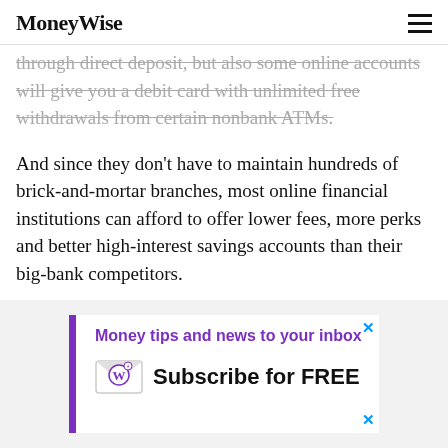MoneyWise
through direct deposit, but also some online accounts will give you a debit card with unlimited free withdrawals from certain nonbank ATMs.
And since they don't have to maintain hundreds of brick-and-mortar branches, most online financial institutions can afford to offer lower fees, more perks and better high-interest savings accounts than their big-bank competitors.
Article continues below
[Figure (infographic): Advertisement banner: 'Money tips and news to your inbox' with 'Subscribe for FREE' text and MoneyWise envelope logo]